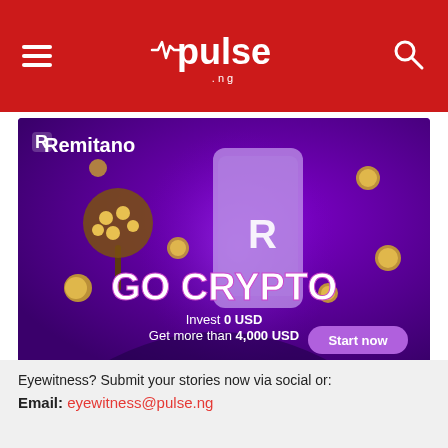pulse.ng
[Figure (illustration): Remitano GO CRYPTO advertisement banner. Purple background with coins, a money tree, a smartphone showing the Remitano R logo, and a person. Text reads: Remitano, GO CRYPTO, Invest 0 USD, Get more than 4,000 USD, Start now]
[Figure (infographic): Social sharing icons row: Facebook, Twitter, Email, WhatsApp, LinkedIn]
Eyewitness? Submit your stories now via social or:
Email: eyewitness@pulse.ng